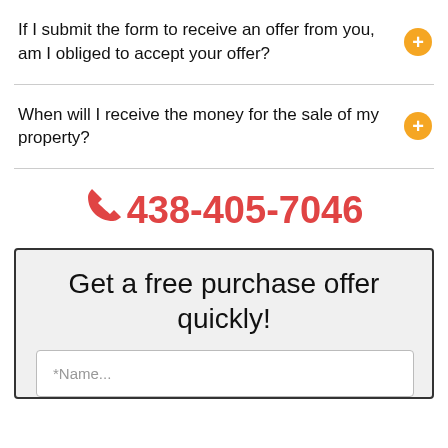If I submit the form to receive an offer from you, am I obliged to accept your offer?
When will I receive the money for the sale of my property?
☎ 438-405-7046
Get a free purchase offer quickly!
*Name...